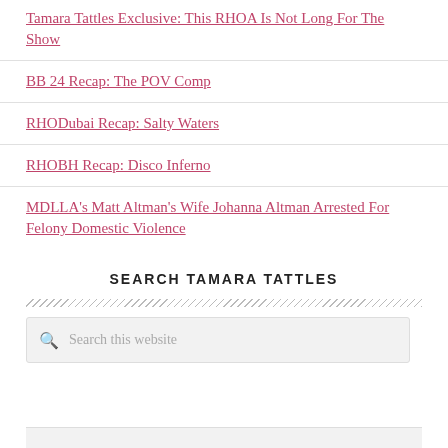Tamara Tattles Exclusive: This RHOA Is Not Long For The Show
BB 24 Recap: The POV Comp
RHODubai Recap: Salty Waters
RHOBH Recap: Disco Inferno
MDLLA's Matt Altman's Wife Johanna Altman Arrested For Felony Domestic Violence
SEARCH TAMARA TATTLES
Search this website